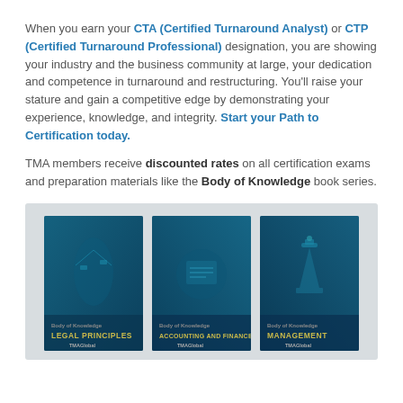When you earn your CTA (Certified Turnaround Analyst) or CTP (Certified Turnaround Professional) designation, you are showing your industry and the business community at large, your dedication and competence in turnaround and restructuring. You'll raise your stature and gain a competitive edge by demonstrating your experience, knowledge, and integrity. Start your Path to Certification today.
TMA members receive discounted rates on all certification exams and preparation materials like the Body of Knowledge book series.
[Figure (photo): Three book covers from the Body of Knowledge series: Legal Principles, Accounting and Finance, and Management. All have dark teal/blue backgrounds with imagery and TMA Global branding.]